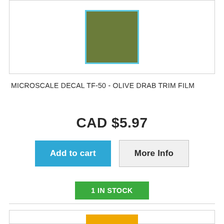[Figure (photo): Product image showing olive drab colored rectangle with light blue border on white background]
MICROSCALE DECAL TF-50 - OLIVE DRAB TRIM FILM
CAD $5.97
Add to cart
More Info
1 IN STOCK
[Figure (photo): Product image showing yellow/gold colored rectangle on white background]